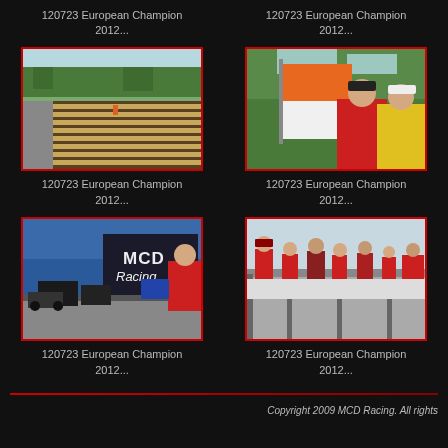120723 European Champion 2012...
120723 European Champion 2012...
[Figure (photo): RC car racing track outdoors with grass and wooden barriers, wide angle view]
[Figure (photo): Two men holding a flag (orange and white) at an outdoor event, trees in background]
120723 European Champion 2012...
120723 European Champion 2012...
[Figure (photo): MCD Racing booth with man in red shirt working at table with equipment, MCD Racing banner visible]
[Figure (photo): People gathered on elevated platform or stand watching an event]
120723 European Champion 2012...
120723 European Champion 2012...
Copyright 2009 MCD Racing. All rights